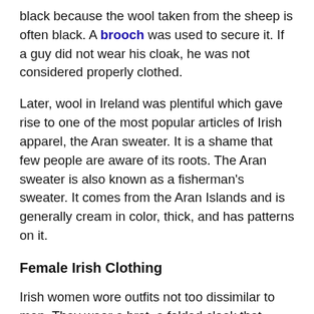black because the wool taken from the sheep is often black. A brooch was used to secure it. If a guy did not wear his cloak, he was not considered properly clothed.
Later, wool in Ireland was plentiful which gave rise to one of the most popular articles of Irish apparel, the Aran sweater. It is a shame that few people are aware of its roots. The Aran sweater is also known as a fisherman's sweater. It comes from the Aran Islands and is generally cream in color, thick, and has patterns on it.
Female Irish Clothing
Irish women wore outfits not too dissimilar to men. They wear a brat, a folded cloak that hangs from the shoulder, and a basic kilt or leggings and jacket. During the repression, the cloak or brat was a symbol of revolt